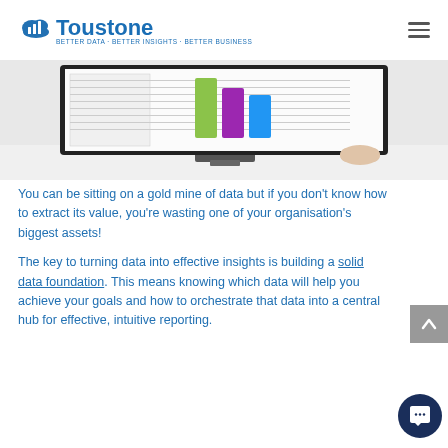Toustone — BETTER DATA · BETTER INSIGHTS · BETTER BUSINESS
[Figure (photo): A person using a desktop computer monitor displaying a spreadsheet/report with colorful bar charts, viewed from the side — taken in a bright workspace.]
You can be sitting on a gold mine of data but if you don't know how to extract its value, you're wasting one of your organisation's biggest assets!
The key to turning data into effective insights is building a solid data foundation. This means knowing which data will help you achieve your goals and how to orchestrate that data into a central hub for effective, intuitive reporting.